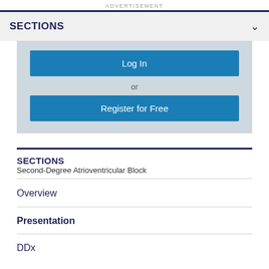ADVERTISEMENT
SECTIONS
Log In
or
Register for Free
SECTIONS
Second-Degree Atrioventricular Block
Overview
Presentation
DDx